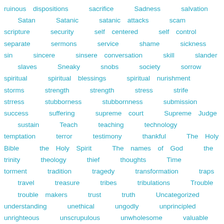ruinous dispositions sacrifice Sadness salvation Satan Satanic satanic attacks scam scripture security self centered self control separate sermons service shame sickness sin sincere sinsere conversation skill slander slaves Sneaky snobs society sorrow spiritual spiritual blessings spiritual nurishment storms strength strength stress strife strress stubborness stubbornness submission success suffering supreme court Supreme Judge sustain Teach teaching technology temptation terror testimony thankful The Holy Bible the Holy Spirit The names of God the trinity theology thief thoughts Time torment tradition tragedy transformation traps travel treasure tribes tribulations Trouble trouble makers trust truth Uncategorized understanding unethical ungodly unprincipled unrighteous unscrupulous unwholesome valuable lesson Victory vindication visions visitors volunteer service volunteering vows warfare weakness